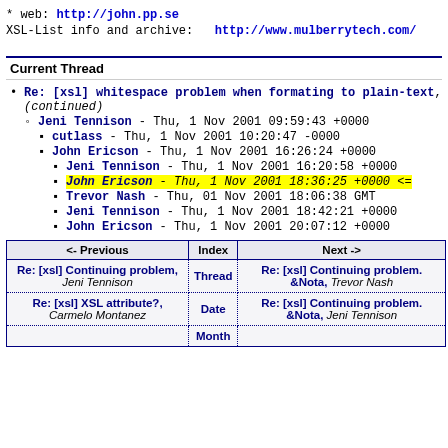* web: http://john.pp.se
XSL-List info and archive:  http://www.mulberrytech.com/
Current Thread
Re: [xsl] whitespace problem when formating to plain-text, (continued)
Jeni Tennison - Thu, 1 Nov 2001 09:59:43 +0000
cutlass - Thu, 1 Nov 2001 10:20:47 -0000
John Ericson - Thu, 1 Nov 2001 16:26:24 +0000
Jeni Tennison - Thu, 1 Nov 2001 16:20:58 +0000
John Ericson - Thu, 1 Nov 2001 18:36:25 +0000 <=
Trevor Nash - Thu, 01 Nov 2001 18:06:38 GMT
Jeni Tennison - Thu, 1 Nov 2001 18:42:21 +0000
John Ericson - Thu, 1 Nov 2001 20:07:12 +0000
| <- Previous | Index | Next -> |
| --- | --- | --- |
| Re: [xsl] Continuing problem, Jeni Tennison | Thread | Re: [xsl] Continuing problem. &Nota, Trevor Nash |
| Re: [xsl] XSL attribute?, Carmelo Montanez | Date | Re: [xsl] Continuing problem. &Nota, Jeni Tennison |
|  | Month |  |